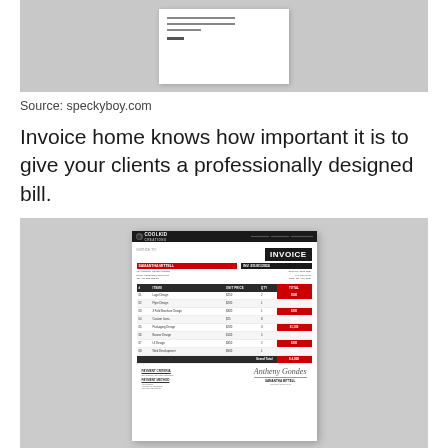[Figure (screenshot): Top portion showing a small white document card on a gray background — appears to be a cropped invoice template preview]
Source: speckyboy.com
Invoice home knows how important it is to give your clients a professionally designed bill.
[Figure (screenshot): Invoice template from CoolKid Creations showing a professional invoice design with black header, red accent bars, an itemized table with 8 line items (Logo Design, Flyer Design, 3 Fold Brochure Design, Custom Icons, Packaging Design, Banner Design, UI Design, Web Development), a Grand Total row in red, payment criteria section, payment method section, and signature area.]